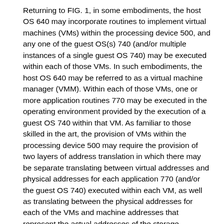Returning to FIG. 1, in some embodiments, the host OS 640 may incorporate routines to implement virtual machines (VMs) within the processing device 500, and any one of the guest OS(s) 740 (and/or multiple instances of a single guest OS 740) may be executed within each of those VMs. In such embodiments, the host OS 640 may be referred to as a virtual machine manager (VMM). Within each of those VMs, one or more application routines 770 may be executed in the operating environment provided by the execution of a guest OS 740 within that VM. As familiar to those skilled in the art, the provision of VMs within the processing device 500 may require the provision of two layers of address translation in which there may be separate translating between virtual addresses and physical addresses for each application 770 (and/or the guest OS 740) executed within each VM, as well as translating between the physical addresses for each of the VMs and machine addresses that represent the actual addresses of the storage locations that make up the volatile storage 561. This situation arises from the fact that each guest OS 740 executed within one of the VMs may not be aware that the physical address space within each VM is itself a virtualization of the actual address